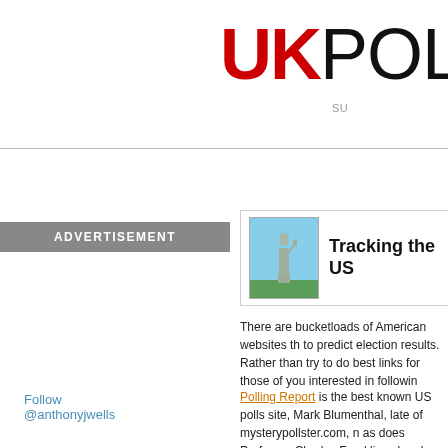UKPOLL
SU
Follow @anthonyjwells
ADVERTISEMENT
[Figure (photo): Statue of Liberty thumbnail image]
Tracking the US
There are bucketloads of American websites th to predict election results. Rather than try to do best links for those of you interested in followin
Polling Report is the best known US polls site, Mark Blumenthal, late of mysterypollster.com, n as does Professor Charles Franklin, who also n